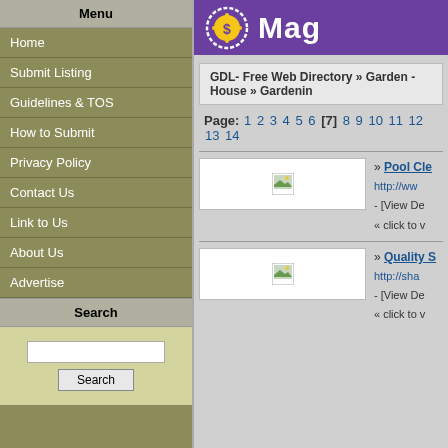Mag (logo/banner, partially visible)
Menu
Home
Submit Listing
Guidelines & TOS
How to Submit
Privacy Policy
Contact Us
Link to Us
About Us
Advertise
Search
GDL- Free Web Directory » Garden - House » Gardening (partially visible)
Page: 1 2 3 4 5 6 [7] 8 9 10 11 12 13 14
[Figure (screenshot): Listing thumbnail image placeholder]
» Pool Cle... http://ww... - [View De... « click to v...
[Figure (screenshot): Listing thumbnail image placeholder]
» Quality S... http://sha... - [View De... « click to v...